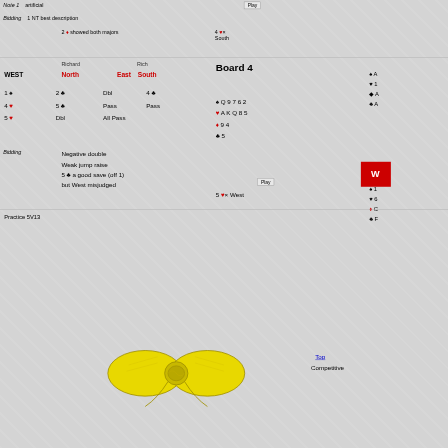Note 1   artificial
Bidding   1 NT best description   2 ♦ showed both majors
4 ♥× South
Board 4
Richard North   Rich South   WEST   East
| WEST | North | East | South |
| --- | --- | --- | --- |
| 1 ♠ | 2 ♣ | Dbl | 4 ♣ |
| 4 ♥ | 5 ♣ | Pass | Pass |
| 5 ♥ | Dbl | All Pass |  |
♠ Q 9 7 6 2  ♥ A K Q 8 5  ♦ 9 4  ♣ 5
Bidding   Negative double   Weak jump raise   5 ♣ a good save (off 1)   but West misjudged
5 ♥× West
Practice 5V13
Top   Competitive